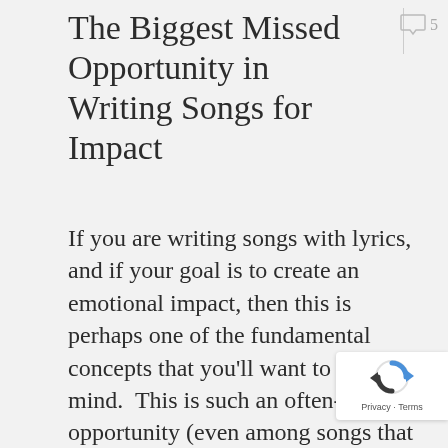The Biggest Missed Opportunity in Writing Songs for Impact
[Figure (other): Comment bubble icon with count '5']
If you are writing songs with lyrics, and if your goal is to create an emotional impact, then this is perhaps one of the fundamental concepts that you'll want to keep in mind.  This is such an often-missed opportunity (even among songs that are very impactful already), though it is …
[Figure (other): Google reCAPTCHA badge with Privacy and Terms links]